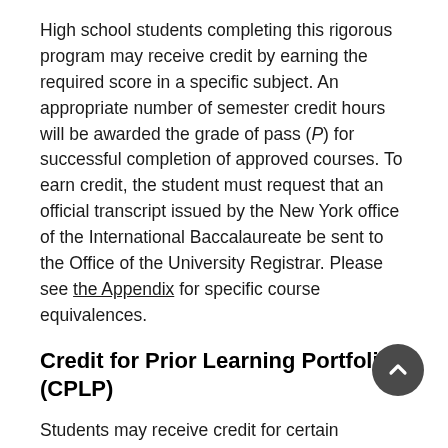High school students completing this rigorous program may receive credit by earning the required score in a specific subject. An appropriate number of semester credit hours will be awarded the grade of pass (P) for successful completion of approved courses. To earn credit, the student must request that an official transcript issued by the New York office of the International Baccalaureate be sent to the Office of the University Registrar. Please see the Appendix for specific course equivalences.
Credit for Prior Learning Portfolio (CPLP)
Students may receive credit for certain approved courses via portfolio development for learning that has occurred through their military, career, and non-academic experiences. A portfolio is a set of